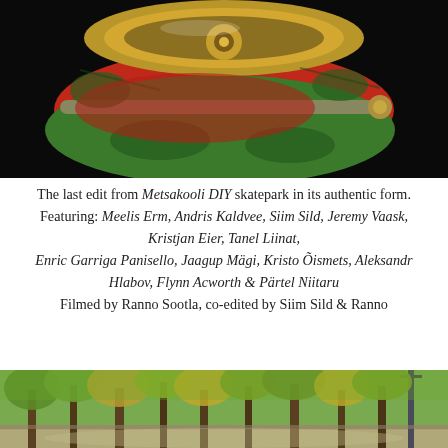[Figure (photo): Close-up photo of a skateboard truck/wheel with red and green paint, black background]
The last edit from Metsakooli DIY skatepark in its authentic form.
Featuring: Meelis Erm, Andris Kaldvee, Siim Sild, Jeremy Vaask, Kristjan Eier, Tanel Liinat,
Enric Garriga Panisello, Jaagup Mägi, Kristo Õismets, Aleksandr Hlabov, Flynn Acworth & Pärtel Niitaru
Filmed by Ranno Sootla, co-edited by Siim Sild & Ranno
[Figure (photo): Outdoor park scene with tall trees, yellow-green foliage, sunny day, path visible]